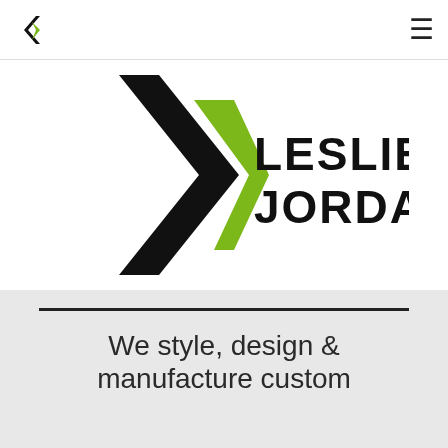Leslie Jordan navigation bar
[Figure (logo): Leslie Jordan company logo — large black angular chevron/bracket shape on the left, overlapping green angular lightning bolt/diamond shape on the right, with bold black text LESLIE JORDAN to the right of the shapes]
We style, design & manufacture custom